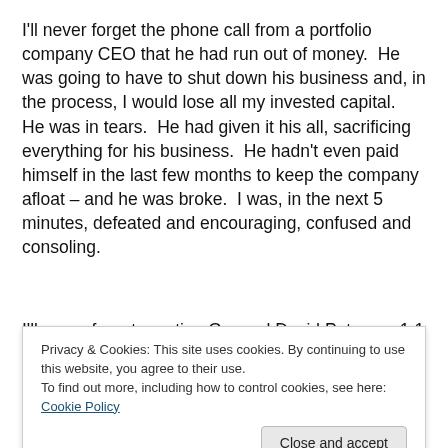I'll never forget the phone call from a portfolio company CEO that he had run out of money.  He was going to have to shut down his business and, in the process, I would lose all my invested capital.  He was in tears.  He had given it his all, sacrificing everything for his business.  He hadn't even paid himself in the last few months to keep the company afloat – and he was broke.  I was, in the next 5 minutes, defeated and encouraging, confused and consoling.
I'll never forget meeting General David Petraeus 1:1 in his
gentleman, a class act, and a selfless leader.  But one
Privacy & Cookies: This site uses cookies. By continuing to use this website, you agree to their use.
To find out more, including how to control cookies, see here: Cookie Policy